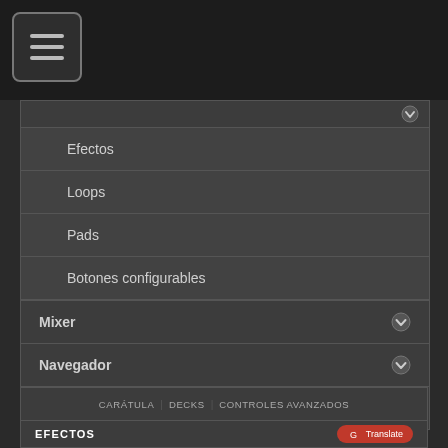[Figure (screenshot): Hamburger menu icon button in top-left corner on dark background]
Efectos
Loops
Pads
Botones configurables
Mixer
Navegador
Base de Datos
CARÁTULA   DECKS   CONTROLES AVANZADOS
EFECTOS